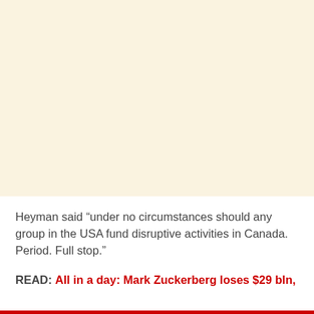[Figure (other): Large cream/beige colored blank area at the top of the page, likely an image placeholder.]
Heyman said “under no circumstances should any group in the USA fund disruptive activities in Canada. Period. Full stop.”
READ: All in a day: Mark Zuckerberg loses $29 bln,